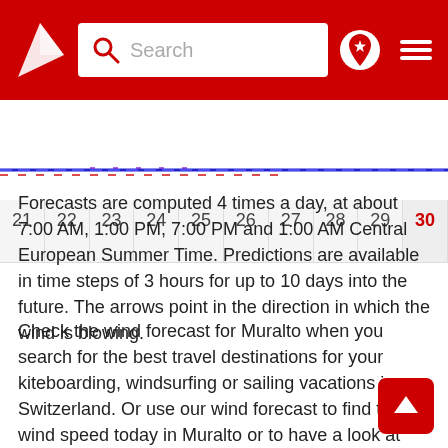[Figure (screenshot): Red navigation bar with wind forecast website logo (white triangle/arrow), search box with magnifying glass icon, location pin icon, and hamburger menu icon]
[Figure (other): Calendar date strip showing days 21 through 30, with 30 highlighted in red as today, on a light grey background]
[Figure (continuous-plot): Wind direction chart strip with blue and red dashed/dotted lines across the full width indicating wind data]
Forecasts are computed 4 times a day, at about 7:00 AM, 1:00 PM, 7:00 PM and 1:00 AM Central European Summer Time. Predictions are available in time steps of 3 hours for up to 10 days into the future. The arrows point in the direction in which the wind is blowing.
Check the wind forecast for Muralto when you search for the best travel destinations for your kiteboarding, windsurfing or sailing vacations in Switzerland. Or use our wind forecast to find the wind speed today in Muralto or to have a look at the wind direction tomorrow at Muralto.
Units  We use knots and degrees Celsius as our default units. These units are often used by sailors, kiters, surfers, windsurfers and paragliders. Use website settings to switch between units 7 different languages at any time. For converting between win...